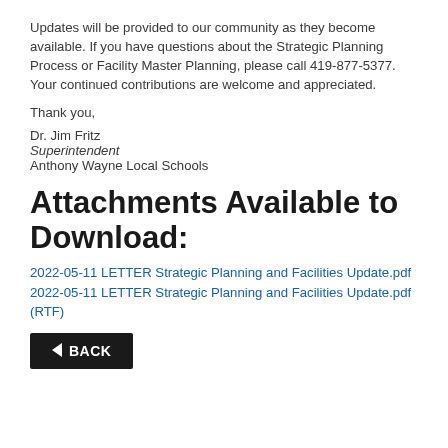Updates will be provided to our community as they become available. If you have questions about the Strategic Planning Process or Facility Master Planning, please call 419-877-5377. Your continued contributions are welcome and appreciated.
Thank you,
Dr. Jim Fritz
Superintendent
Anthony Wayne Local Schools
Attachments Available to Download:
2022-05-11 LETTER Strategic Planning and Facilities Update.pdf
2022-05-11 LETTER Strategic Planning and Facilities Update.pdf (RTF)